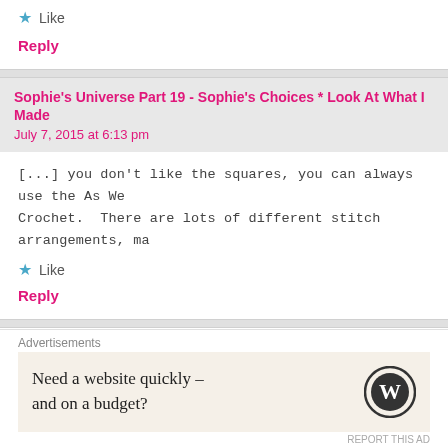★ Like
Reply
Sophie's Universe Part 19 - Sophie's Choices * Look At What I Made
July 7, 2015 at 6:13 pm
[...] you don't like the squares, you can always use the As We Crochet. There are lots of different stitch arrangements, ma
★ Like
Reply
Happy Dancing! | Sewing Beside the Sea says:
July 8, 2015 at 5:41 pm
Advertisements
Need a website quickly – and on a budget?